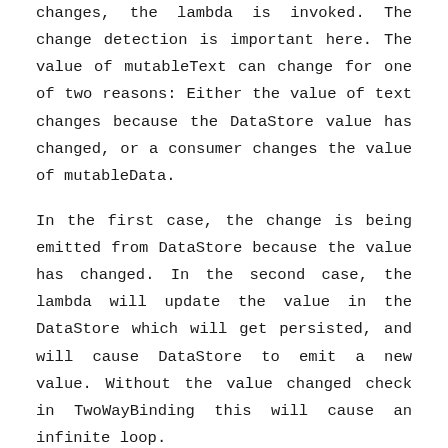changes, the lambda is invoked. The change detection is important here. The value of mutableText can change for one of two reasons: Either the value of text changes because the DataStore value has changed, or a consumer changes the value of mutableData.
In the first case, the change is being emitted from DataStore because the value has changed. In the second case, the lambda will update the value in the DataStore which will get persisted, and will cause DataStore to emit a new value. Without the value changed check in TwoWayBinding this will cause an infinite loop.
I should mention that the updateData() method of DataStore is a suspend function hence we must wrap it in